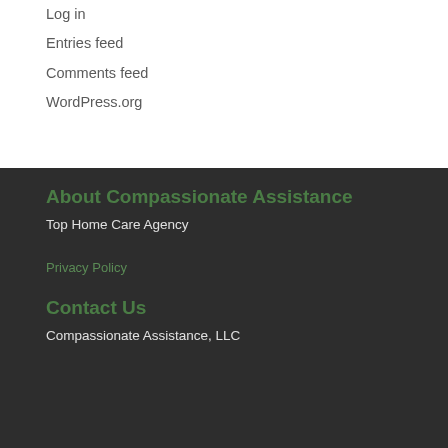Log in
Entries feed
Comments feed
WordPress.org
About Compassionate Assistance
Top Home Care Agency
Privacy Policy
Contact Us
Compassionate Assistance, LLC